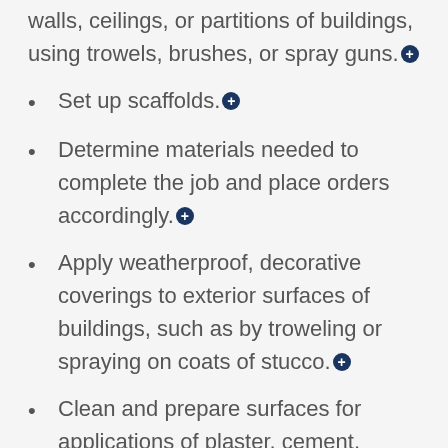walls, ceilings, or partitions of buildings, using trowels, brushes, or spray guns.⊕
Set up scaffolds.⊕
Determine materials needed to complete the job and place orders accordingly.⊕
Apply weatherproof, decorative coverings to exterior surfaces of buildings, such as by troweling or spraying on coats of stucco.⊕
Clean and prepare surfaces for applications of plaster, cement, stucco, or similar materials, such as by drywall taping.⊕